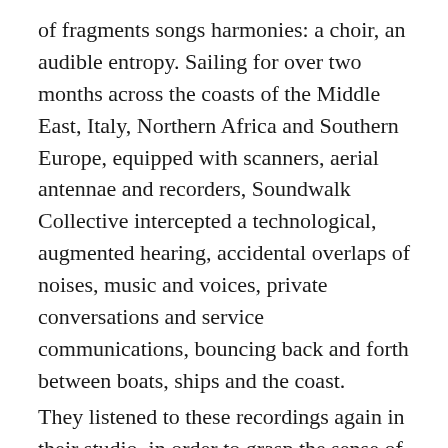of fragments songs harmonies: a choir, an audible entropy. Sailing for over two months across the coasts of the Middle East, Italy, Northern Africa and Southern Europe, equipped with scanners, aerial antennae and recorders, Soundwalk Collective intercepted a technological, augmented hearing, accidental overlaps of noises, music and voices, private conversations and service communications, bouncing back and forth between boats, ships and the coast.
They listened to these recordings again in their studio, in order to grasp the sense of each sound, of each trace, of each diaphony: hints of stories, slices of worlds, letting themselves be led to what turned out to be an état des lieux of the Mediterranean basin.
The result is a musical map in continuous rearrangement, a polyphonic installation, the reflection of a sound archive.
In Palermo, this symphonic drift of the Mediterranean basin finds its home at the former Oratorio di Santa Maria del